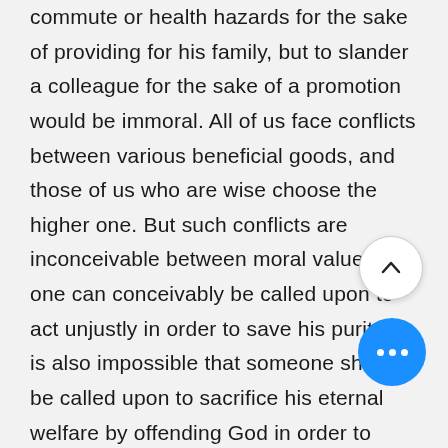commute or health hazards for the sake of providing for his family, but to slander a colleague for the sake of a promotion would be immoral. All of us face conflicts between various beneficial goods, and those of us who are wise choose the higher one. But such conflicts are inconceivable between moral values: no one can conceivably be called upon to act unjustly in order to save his purity. It is also impossible that someone should be called upon to sacrifice his eternal welfare by offending God in order to enhance the welfare of someone else.

It is legitimate to raise the question professors at the University of Louvain most